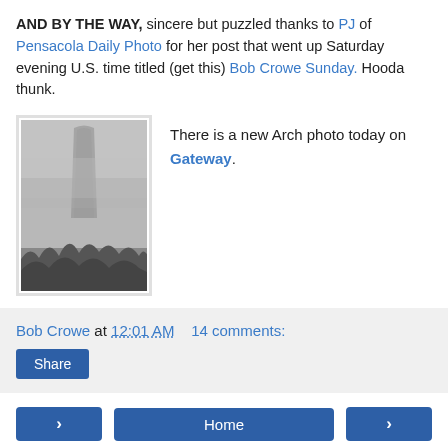AND BY THE WAY, sincere but puzzled thanks to PJ of Pensacola Daily Photo for her post that went up Saturday evening U.S. time titled (get this) Bob Crowe Sunday. Hooda thunk.
[Figure (photo): Black and white photo of what appears to be the Gateway Arch in foggy/misty conditions with trees silhouetted at bottom]
There is a new Arch photo today on Gateway.
Bob Crowe at 12:01 AM   14 comments:
Share
Home
View web version
Powered by Blogger.